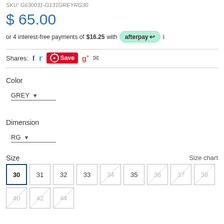SKU: G630031-G131GREYRG30
$ 65.00
or 4 interest-free payments of $16.25 with afterpay
Shares: f  [twitter]  [pinterest Save]  g+  [email]
Color
GREY ▾
Dimension
RG ▾
Size
Size chart
30 31 32 33 34 35 36 37 38 40 42 44